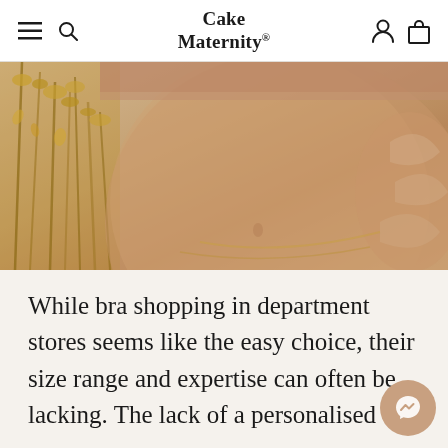Cake Maternity
[Figure (photo): Close-up photo of a pregnant woman's bare belly, wearing a nude/tan maternity bra. Dried botanical flowers visible on the left side of the image with a warm beige/cream background and subtle leaf decorations.]
While bra shopping in department stores seems like the easy choice, their size range and expertise can often be lacking. The lack of a personalised service can leave many women without a correctly